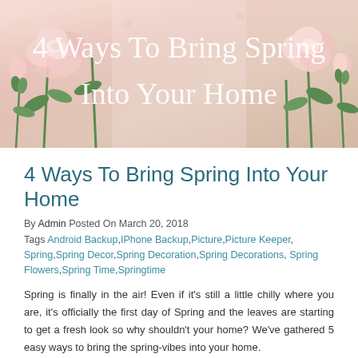[Figure (photo): Hero image of pink spring flowers (roses/ranunculus) on a light background with overlaid title text '4 Ways To Bring Spring Into Your Home' in white serif font]
4 Ways To Bring Spring Into Your Home
By Admin Posted On March 20, 2018
Tags Android Backup,IPhone Backup,Picture,Picture Keeper, Spring,Spring Decor,Spring Decoration,Spring Decorations, Spring Flowers,Spring Time,Springtime
Spring is finally in the air! Even if it's still a little chilly where you are, it's officially the first day of Spring and the leaves are starting to get a fresh look so why shouldn't your home? We've gathered 5 easy ways to bring the spring-vibes into your home.
Spring Colors